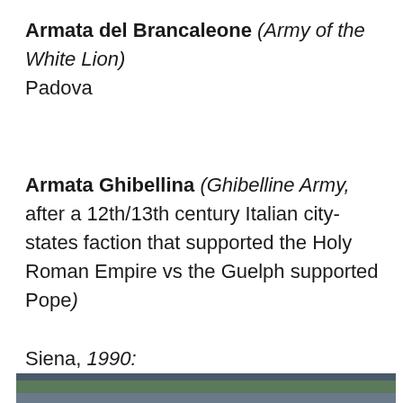Armata del Brancaleone (Army of the White Lion)
Padova
Armata Ghibellina (Ghibelline Army, after a 12th/13th century Italian city-states faction that supported the Holy Roman Empire vs the Guelph supported Pope)
Siena, 1990:
[Figure (photo): A photograph from 1990 showing a football stadium banner reading 'ARMATA * GHIBELLINA' with additional text 'PANFORTE MANNINI fibok' and banners/scarves visible]